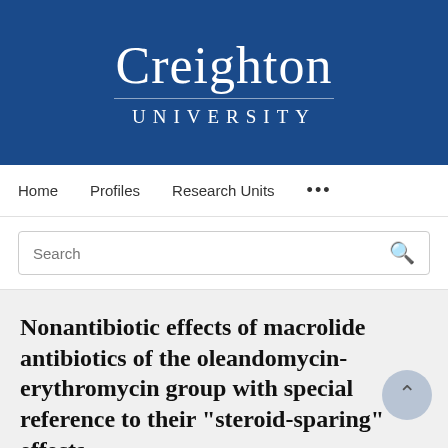[Figure (logo): Creighton University logo — white serif text 'Creighton' and 'UNIVERSITY' on dark blue background]
Home   Profiles   Research Units   ...
Search
Nonantibiotic effects of macrolide antibiotics of the oleandomycin-erythromycin group with special reference to their "steroid-sparing" effects